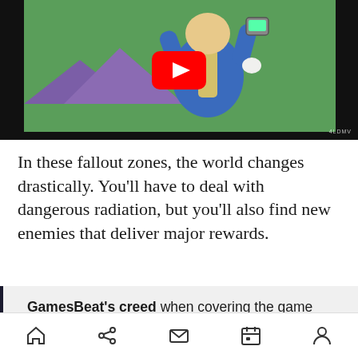[Figure (screenshot): YouTube video thumbnail showing an animated character in a blue vault suit holding a device, with a green background and mountains. A red YouTube play button is overlaid in the center.]
In these fallout zones, the world changes drastically. You'll have to deal with dangerous radiation, but you'll also find new enemies that deliver major rewards.
GamesBeat's creed when covering the game industry is "where passion meets business." What does this mean? We want to tell you how the news matters to you – not just as a decision-maker at a
Home | Share | Mail | Calendar | Profile